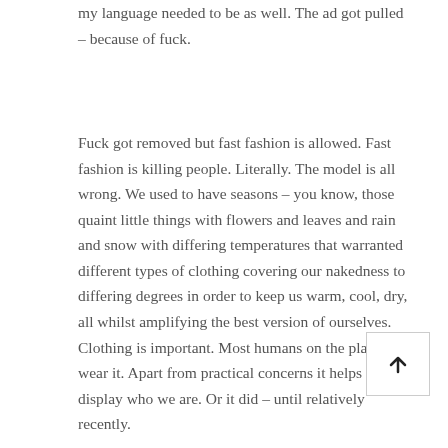my language needed to be as well. The ad got pulled – because of fuck.
Fuck got removed but fast fashion is allowed. Fast fashion is killing people. Literally. The model is all wrong. We used to have seasons – you know, those quaint little things with flowers and leaves and rain and snow with differing temperatures that warranted different types of clothing covering our nakedness to differing degrees in order to keep us warm, cool, dry, all whilst amplifying the best version of ourselves. Clothing is important. Most humans on the planet wear it. Apart from practical concerns it helps us display who we are. Or it did – until relatively recently.